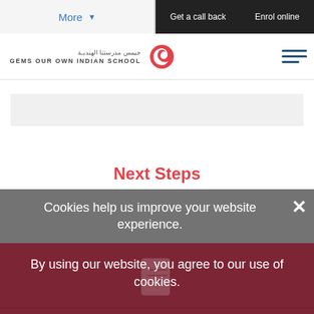More | Get a call back | Enrol online
[Figure (logo): GEMS Our Own Indian School logo with Arabic text and red circular icon]
Next Steps
Cookies help us improve your website experience. By using our website, you agree to our use of cookies.
Confirm